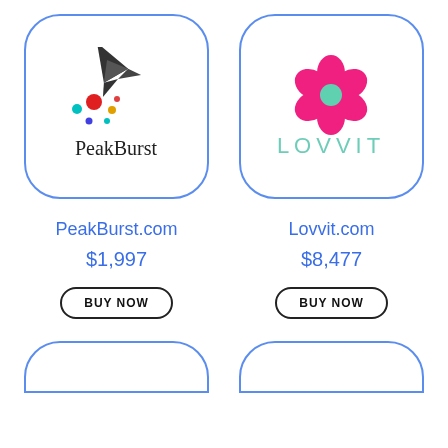[Figure (logo): PeakBurst logo: dark gray rocket/pen nib icon with colorful dots, text 'PeakBurst' below]
[Figure (logo): Lovvit logo: hot pink flower/clover shape with teal center, text 'LOVVIT' in teal below]
PeakBurst.com
Lovvit.com
$1,997
$8,477
BUY NOW
BUY NOW